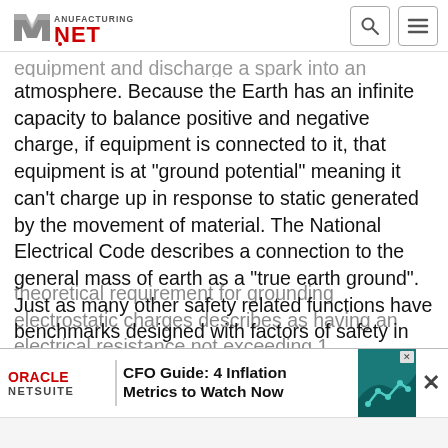Manufacturing NET
equipment and discharge a spark into an ignitable atmosphere. Because the Earth has an infinite capacity to balance positive and negative charge, if equipment is connected to it, that equipment is at “ground potential” meaning it can’t charge up in response to static generated by the movement of material. The National Electrical Code describes a connection to the general mass of earth as a “true earth ground”. Just as many other safety related functions have benchmarks designed with factors of safety in mind, grounding and bonding circuits can, and should, work to benchmarks that exceed the minimum safety requirements. The minimum theoretical requirement for grounding electrostatic charges...describes as having an electrical resistance not exceeding 1
[Figure (other): Oracle NetSuite advertisement banner: CFO Guide: 4 Inflation Metrics to Watch Now]